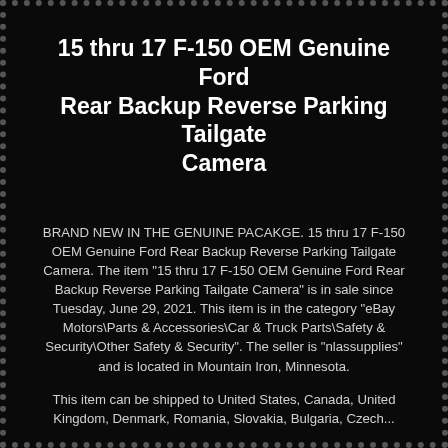15 thru 17 F-150 OEM Genuine Ford Rear Backup Reverse Parking Tailgate Camera
BRAND NEW IN THE GENUINE PACAKGE. 15 thru 17 F-150 OEM Genuine Ford Rear Backup Reverse Parking Tailgate Camera. The item "15 thru 17 F-150 OEM Genuine Ford Rear Backup Reverse Parking Tailgate Camera" is in sale since Tuesday, June 29, 2021. This item is in the category "eBay Motors\Parts & Accessories\Car & Truck Parts\Safety & Security\Other Safety & Security". The seller is "nlassupplies" and is located in Mountain Iron, Minnesota.
This item can be shipped to United States, Canada, United Kingdom, Denmark, Romania, Slovakia, Bulgaria, Czech...